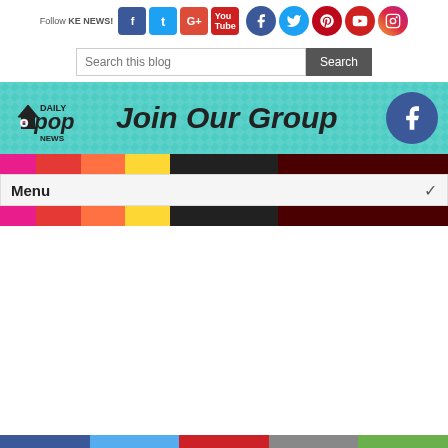[Figure (screenshot): Social media follow bar with Facebook, Twitter, Google+, YouTube text icons and circular Facebook, Twitter, Pinterest, YouTube, Instagram icons]
[Figure (screenshot): Search this blog input field with Search button]
[Figure (screenshot): Daily Kpop News banner with Join Our Group text and Facebook icon]
[Figure (screenshot): Colorful diagonal stripe navigation bar]
[Figure (screenshot): Menu dropdown bar with arrow]
[Figure (screenshot): Social share footer with Facebook, Twitter, Pinterest, Email, Share buttons]